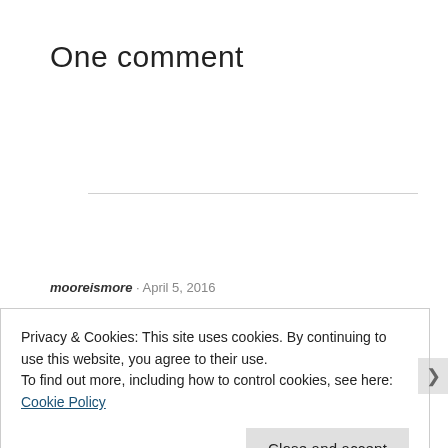One comment
mooreismore · April 5, 2016
Privacy & Cookies: This site uses cookies. By continuing to use this website, you agree to their use.
To find out more, including how to control cookies, see here: Cookie Policy
Close and accept